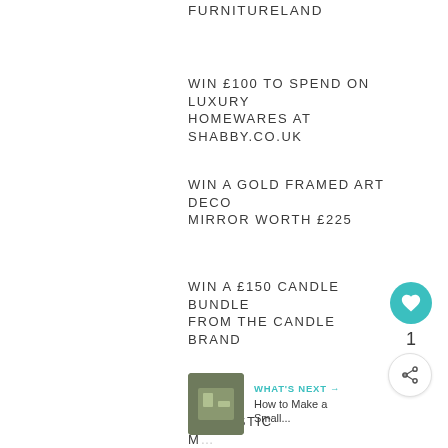FURNITURELAND
WIN £100 TO SPEND ON LUXURY HOMEWARES AT SHABBY.CO.UK
WIN A GOLD FRAMED ART DECO MIRROR WORTH £225
WIN A £150 CANDLE BUNDLE FROM THE CANDLE BRAND
WIN A FANTASTIC M... SIGN WORTH £100 F...
WHAT'S NEXT → How to Make a Small...